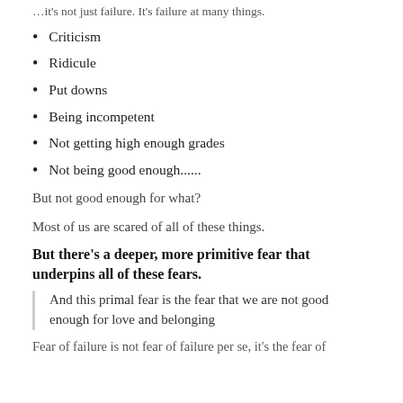…it's not just failure. It's failure at many things.
Criticism
Ridicule
Put downs
Being incompetent
Not getting high enough grades
Not being good enough......
But not good enough for what?
Most of us are scared of all of these things.
But there's a deeper, more primitive fear that underpins all of these fears.
And this primal fear is the fear that we are not good enough for love and belonging
Fear of failure is not fear of failure per se, it's the fear of